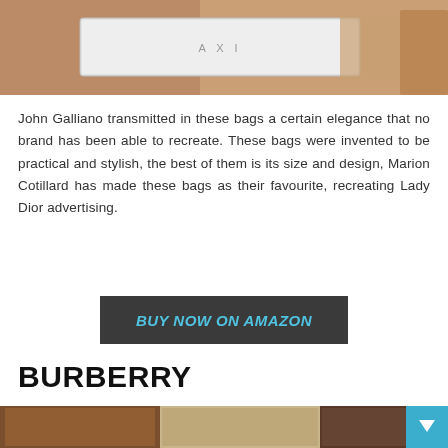[Figure (photo): Top portion of an image showing a person holding a designer bag with metallic hardware, cropped view.]
John Galliano transmitted in these bags a certain elegance that no brand has been able to recreate. These bags were invented to be practical and stylish, the best of them is its size and design, Marion Cotillard has made these bags as their favourite, recreating Lady Dior advertising.
BUY NOW ON AMAZON
BURBERRY
[Figure (photo): Bottom portion of an image showing multiple people with luxury bags, partial view of legs and accessories.]